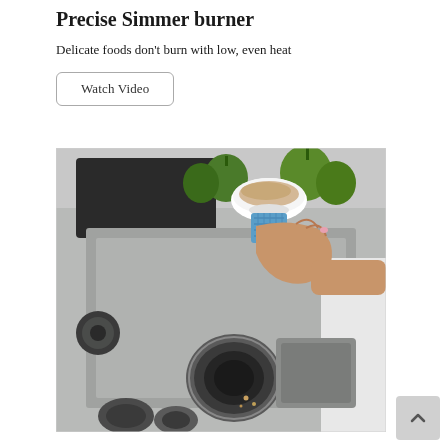Precise Simmer burner
Delicate foods don't burn with low, even heat
Watch Video
[Figure (photo): A hand holding a blue oven mitt placing or removing a bowl of food on a gas cooktop burner. Green bell peppers are visible in the background. The cooktop is stainless steel with black burner caps and silver knobs.]